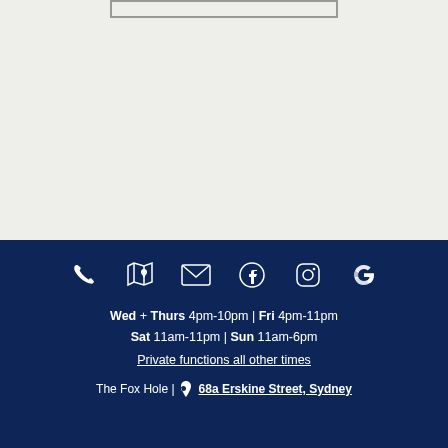[Figure (other): Light gray background area with a thin rectangular box outline near the top]
Wed + Thurs 4pm-10pm | Fri 4pm-11pm
Sat 11am-11pm | Sun 11am-6pm
Private functions all other times
The Fox Hole | 68a Erskine Street, Sydney